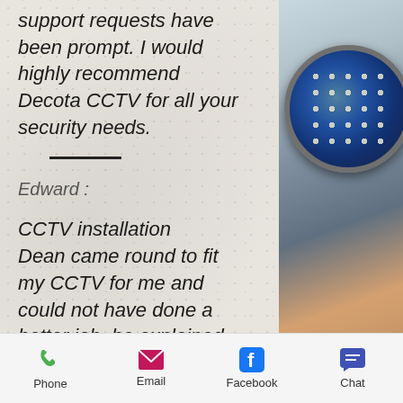support requests have been prompt. I would highly recommend Decota CCTV for all your security needs.
Edward :
CCTV installation Dean came round to fit my CCTV for me and could not have done a better job, he explained everything that I
[Figure (photo): Close-up photo of a CCTV camera showing LED infrared ring and lens, circular with metallic casing]
Phone  Email  Facebook  Chat